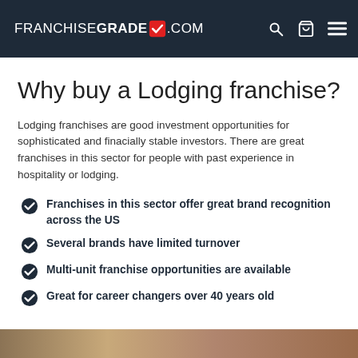FRANCHISEGRADE✓.COM
Why buy a Lodging franchise?
Lodging franchises are good investment opportunities for sophisticated and finacially stable investors. There are great franchises in this sector for people with past experience in hospitality or lodging.
Franchises in this sector offer great brand recognition across the US
Several brands have limited turnover
Multi-unit franchise opportunities are available
Great for career changers over 40 years old
[Figure (photo): Bottom image strip showing a lodging/hotel scene]